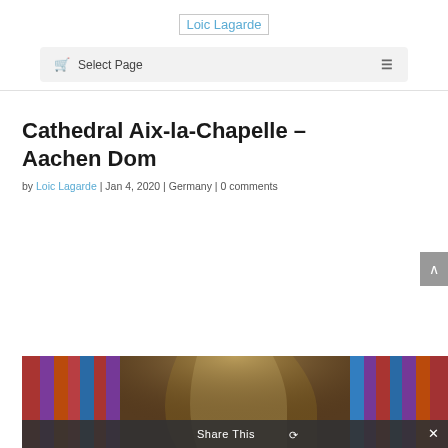Loic Lagarde
Select Page
Cathedral Aix-la-Chapelle – Aachen Dom
by Loic Lagarde | Jan 4, 2020 | Germany | 0 comments
[Figure (photo): Interior of Cathedral Aix-la-Chapelle showing colorful stained glass windows and Gothic arches]